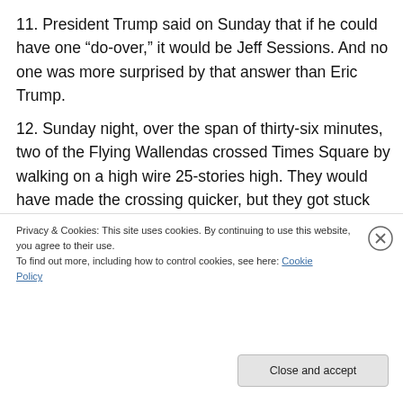11. President Trump said on Sunday that if he could have one “do-over,” it would be Jeff Sessions. And no one was more surprised by that answer than Eric Trump.
12. Sunday night, over the span of thirty-six minutes, two of the Flying Wallendas crossed Times Square by walking on a high wire 25-stories high. They would have made the crossing quicker, but they got stuck behind a family of four from Topeka, Kansas taking in the sights:
[Figure (screenshot): Dark/black image area showing embedded media content]
Privacy & Cookies: This site uses cookies. By continuing to use this website, you agree to their use.
To find out more, including how to control cookies, see here: Cookie Policy